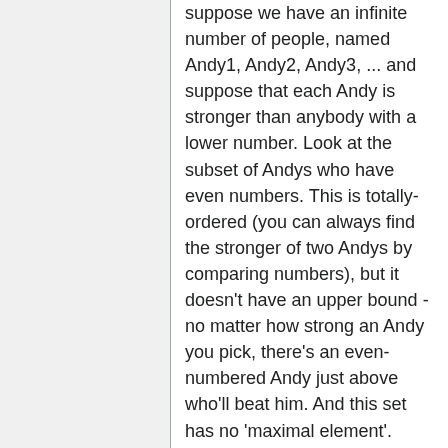suppose we have an infinite number of people, named Andy1, Andy2, Andy3, ... and suppose that each Andy is stronger than anybody with a lower number. Look at the subset of Andys who have even numbers. This is totally-ordered (you can always find the stronger of two Andys by comparing numbers), but it doesn't have an upper bound - no matter how strong an Andy you pick, there's an even-numbered Andy just above who'll beat him. And this set has no 'maximal element'.
Hope this makes it slightly more understandable. (If anybody wants to nitpick this example, BTW, feel free.) --Calair 04:57, 11 Nov 2004 (UTC)
Is it possible to construct a vector space